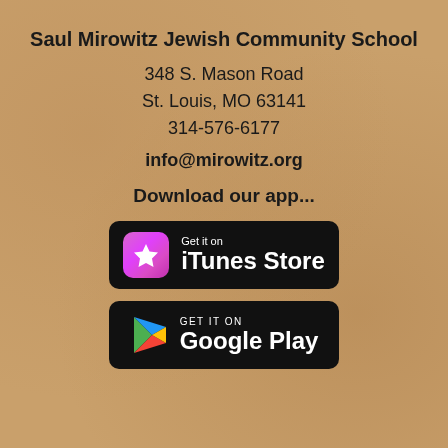Saul Mirowitz Jewish Community School
348 S. Mason Road
St. Louis, MO 63141
314-576-6177
info@mirowitz.org
Download our app...
[Figure (logo): iTunes Store download badge: black rounded rectangle with pink/purple star icon and text 'Get it on iTunes Store' in white]
[Figure (logo): Google Play download badge: black rounded rectangle with colorful triangle play icon and text 'GET IT ON Google Play' in white]